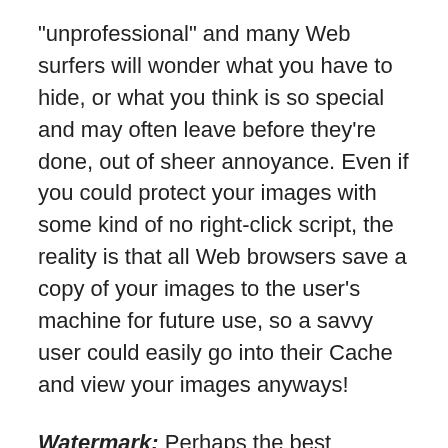"unprofessional" and many Web surfers will wonder what you have to hide, or what you think is so special and may often leave before they're done, out of sheer annoyance. Even if you could protect your images with some kind of no right-click script, the reality is that all Web browsers save a copy of your images to the user's machine for future use, so a savvy user could easily go into their Cache and view your images anyways!
Watermark: Perhaps the best solution, placing a simple watermark into your photos will mean that should people steal them they will either have to crop out your watermark or ignore it, in which case